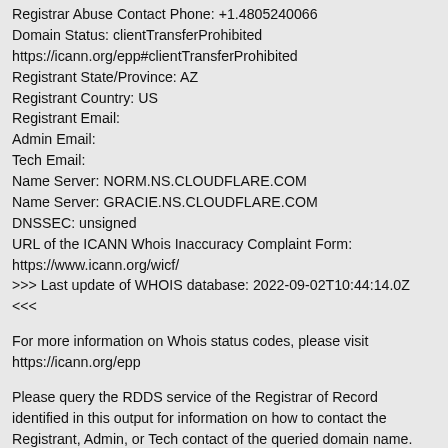Registrar Abuse Contact Phone: +1.4805240066
Domain Status: clientTransferProhibited
https://icann.org/epp#clientTransferProhibited
Registrant State/Province: AZ
Registrant Country: US
Registrant Email:
Admin Email:
Tech Email:
Name Server: NORM.NS.CLOUDFLARE.COM
Name Server: GRACIE.NS.CLOUDFLARE.COM
DNSSEC: unsigned
URL of the ICANN Whois Inaccuracy Complaint Form:
https://www.icann.org/wicf/
>>> Last update of WHOIS database: 2022-09-02T10:44:14.0Z <<<
For more information on Whois status codes, please visit https://icann.org/epp
Please query the RDDS service of the Registrar of Record identified in this output for information on how to contact the Registrant, Admin, or Tech contact of the queried domain name.